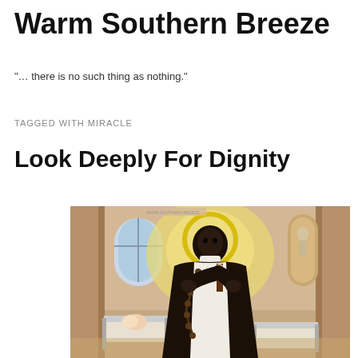Warm Southern Breeze
"... there is no such thing as nothing."
TAGGED WITH MIRACLE
Look Deeply For Dignity
[Figure (illustration): Religious icon painting of a Black saint wearing a dark cloak and white garments, holding a crucifix and rosary beads with a golden halo. In the background are hospital beds with patients, a window with light, and a small statue in a niche. The style is a modern Catholic religious icon depicting Saint Martin de Porres.]